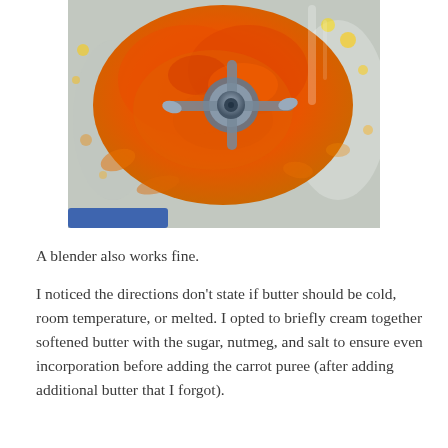[Figure (photo): Close-up photo looking down into a blender or food processor bowl containing a bright orange and red carrot puree, with a metal blade mechanism visible in the center. The sides of the clear plastic bowl show smears of orange puree.]
A blender also works fine.
I noticed the directions don’t state if butter should be cold, room temperature, or melted. I opted to briefly cream together softened butter with the sugar, nutmeg, and salt to ensure even incorporation before adding the carrot puree (after adding additional butter that I forgot).